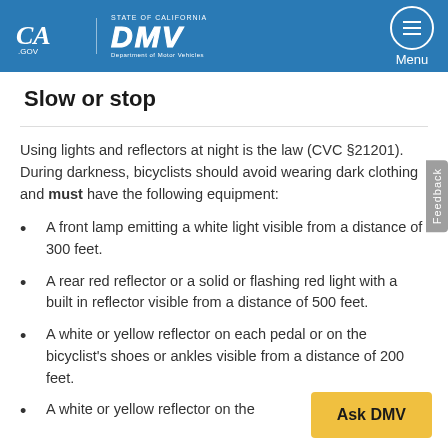CA.gov | STATE OF CALIFORNIA DMV Department of Motor Vehicles | Menu
Slow or stop
Using lights and reflectors at night is the law (CVC §21201). During darkness, bicyclists should avoid wearing dark clothing and must have the following equipment:
A front lamp emitting a white light visible from a distance of 300 feet.
A rear red reflector or a solid or flashing red light with a built in reflector visible from a distance of 500 feet.
A white or yellow reflector on each pedal or on the bicyclist's shoes or ankles visible from a distance of 200 feet.
A white or yellow reflector on the